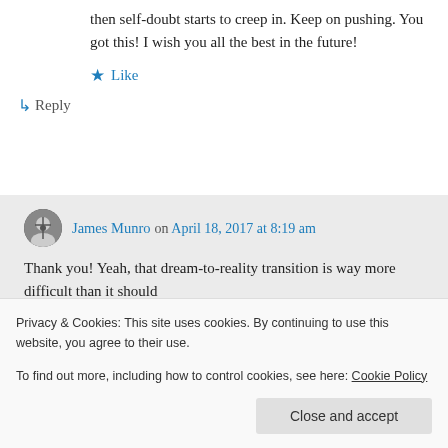then self-doubt starts to creep in. Keep on pushing. You got this! I wish you all the best in the future!
★ Like
↳ Reply
James Munro on April 18, 2017 at 8:19 am
Thank you! Yeah, that dream-to-reality transition is way more difficult than it should
Privacy & Cookies: This site uses cookies. By continuing to use this website, you agree to their use.
To find out more, including how to control cookies, see here: Cookie Policy